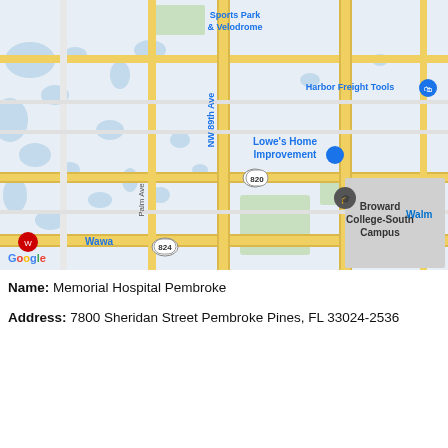[Figure (map): Google Maps screenshot showing area around Memorial Hospital Pembroke in Pembroke Pines, FL. Visible landmarks include Sports Park & Velodrome, Harbor Freight Tools, Lowe's Home Improvement, Teppanyaki Buffet, Broward College-South Campus, Wawa, Boulevard Heights, and roads including NW 89th Ave, Palm Ave, Taft St, Johnson St, Pembroke Rd, and highways 820, 822, 824.]
Name: Memorial Hospital Pembroke
Address: 7800 Sheridan Street Pembroke Pines, FL 33024-2536